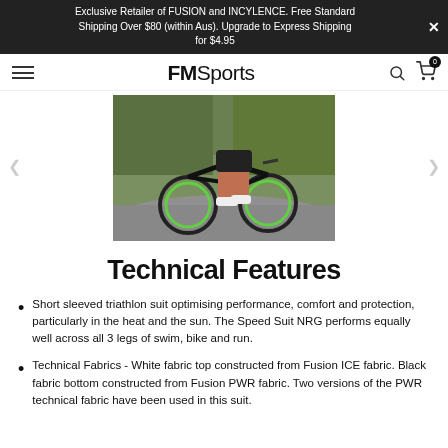Exclusive Retailer of FUSION and INCYLENCE. Free Standard Shipping Over $80 (within Aus). Upgrade to Express Shipping for $4.95
FMSports
[Figure (photo): A cyclist riding a road bike with black frame and green wheels, wearing cycling gear. Outdoor setting with trees in background. Navigation arrows on left and right.]
Technical Features
Short sleeved triathlon suit optimising performance, comfort and protection, particularly in the heat and the sun. The Speed Suit NRG performs equally well across all 3 legs of swim, bike and run.
Technical Fabrics - White fabric top constructed from Fusion ICE fabric. Black fabric bottom constructed from Fusion PWR fabric. Two versions of the PWR technical fabric have been used in this suit.